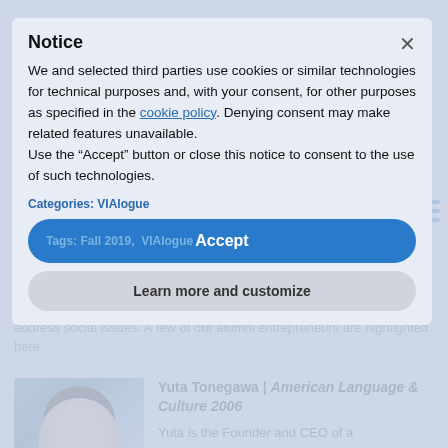Notice
We and selected third parties use cookies or similar technologies for technical purposes and, with your consent, for other purposes as specified in the cookie policy. Denying consent may make related features unavailable.
Use the “Accept” button or close this notice to consent to the use of such technologies.
Categories: VIAlogue
Tags: Fall 2019,  VIAlogue  Accept
Learn more and customize
Our alumni often apply their VIA experience to start new endeavors to address social issues. A few of our alumni entrepreneurs are highlighted here.
Yuta Tonegawa | American Language & Culture 2006
Yuta is the Founder and CEO of a